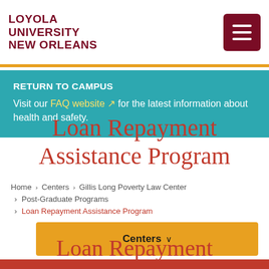LOYOLA UNIVERSITY NEW ORLEANS
RETURN TO CAMPUS
Visit our FAQ website for the latest information about health and safety.
Home › Centers › Gillis Long Poverty Law Center › Post-Graduate Programs › Loan Repayment Assistance Program
Centers ∨
Loan Repayment Assistance Program